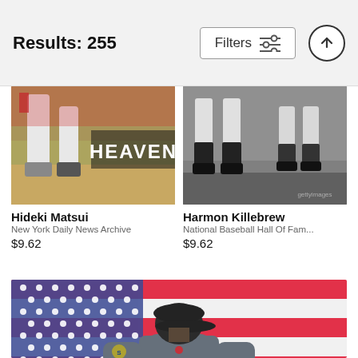Results: 255
[Figure (screenshot): Filters button with sliders icon and scroll-up arrow button in header bar]
[Figure (photo): Hideki Matsui baseball photo with HEAVEN text overlay - cropped legs/feet on baseball field]
Hideki Matsui
New York Daily News Archive
$9.62
[Figure (photo): Harmon Killebrew black and white photo - cropped legs/feet on baseball field]
Harmon Killebrew
National Baseball Hall Of Fam...
$9.62
[Figure (photo): Ichiro Suzuki #51 Seattle Mariners jersey viewed from behind, standing in front of large American flag background]